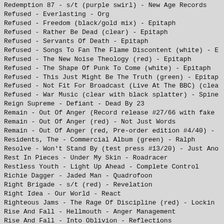Redemption 87 - s/t (purple swirl) - New Age Records
Refused - Everlasting - Org
Refused - Freedom (black/gold mix) - Epitaph
Refused - Rather Be Dead (clear) - Epitaph
Refused - Servants Of Death - Epitaph
Refused - Songs To Fan The Flame Discontent (white) - E
Refused - The New Noise Theology (red) - Epitaph
Refused - The Shape Of Punk To Come (white) - Epitaph
Refused - This Just Might Be The Truth (green) - Epitap
Refused - Not Fit For Broadcast (Live At The BBC) (clea
Refused - War Music (clear with black splatter) - Spine
Reign Supreme - Defiant - Dead By 23
Remain - Out Of Anger (Record release #27/66 with fake
Remain - Out Of Anger (red) - Not Just Words
Remain - Out Of Anger (red, Pre-order edition #4/40) -
Residents, The - Commercial Album (green) - Ralph
Resolve - Won't Stand By (test press #13/20) - Just Ano
Rest In Pieces - Under My Skin - Roadracer
Restless Youth - Light Up Ahead - Complete Control
Richie Dagger - Jaded Man - Quadrofoon
Right Brigade - s/t (red) - Revelation
Right Idea - Our World - React
Righteous Jams - The Rage Of Discipline (red) - Lockin
Rise And Fall - Hellmouth - Anger Management
Rise And Fall - Into Oblivion - Reflections
Rise, The - Signal To Noise - Hectic
Rites Of Spring - s/t - Dischord
Rites Of Spring - s/t (remastered $11.00) - Dischord
Rival Mob - Mob Justice (green) - Revelation
Rival Mob - Raw Life - Lockin Out